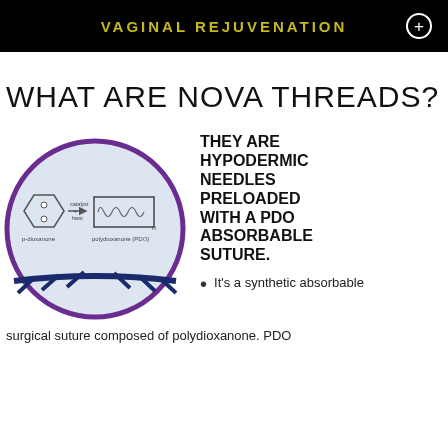VAGINAL REJUVENATION
WHAT ARE NOVA THREADS?
[Figure (illustration): Circular image showing a chemical diagram of p-dioxanone converting to polydioxanone (PDO) with catalyst and heat, overlaid on a close-up photo of a barbed suture thread.]
THEY ARE HYPODERMIC NEEDLES PRELOADED WITH A PDO ABSORBABLE SUTURE.
It's a synthetic absorbable
surgical suture composed of polydioxanone. PDO